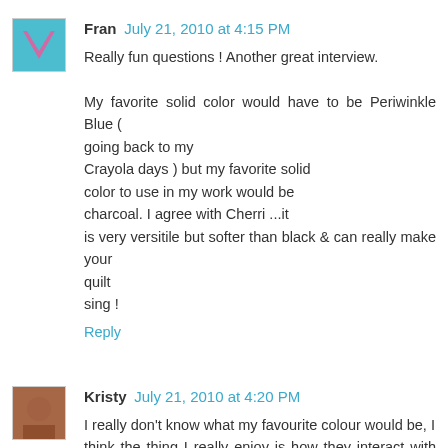[Figure (photo): Avatar image for Fran: teal background with pink V/heart shape]
Fran July 21, 2010 at 4:15 PM
Really fun questions ! Another great interview.

My favorite solid color would have to be Periwinkle Blue ( going back to my Crayola days ) but my favorite solid color to use in my work would be charcoal. I agree with Cherri ...it is very versitile but softer than black & can really make your quilt sing !
Reply
[Figure (photo): Avatar image for Kristy: reddish-brown photo thumbnail]
Kristy July 21, 2010 at 4:20 PM
I really don't know what my favourite colour would be, I think the thing I really enjoy is how they interact with each other.